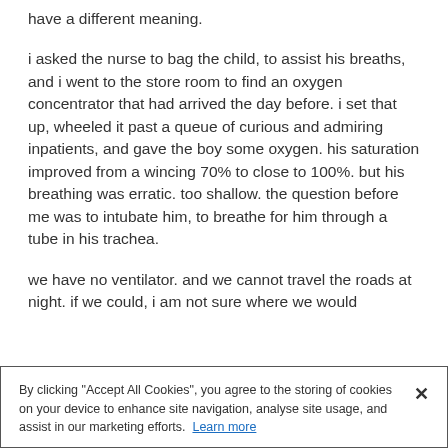have a different meaning.
i asked the nurse to bag the child, to assist his breaths, and i went to the store room to find an oxygen concentrator that had arrived the day before. i set that up, wheeled it past a queue of curious and admiring inpatients, and gave the boy some oxygen. his saturation improved from a wincing 70% to close to 100%. but his breathing was erratic. too shallow. the question before me was to intubate him, to breathe for him through a tube in his trachea.
we have no ventilator. and we cannot travel the roads at night. if we could, i am not sure where we would
By clicking "Accept All Cookies", you agree to the storing of cookies on your device to enhance site navigation, analyse site usage, and assist in our marketing efforts. Learn more